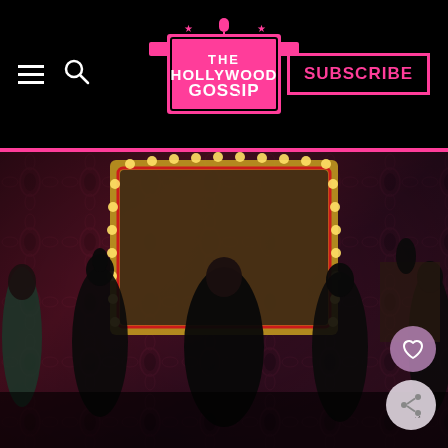The Hollywood Gossip — navigation bar with hamburger menu, search icon, logo, and SUBSCRIBE button
[Figure (photo): Group of five women dressed in black outfits posing in a glamorous set with red damask wallpaper, a large gold-framed mirror with marquee lights, and dark decor. The photo appears to be from a reality TV show promotional shoot.]
[Figure (other): Heart (favorite) floating action button, pink/purple circle]
[Figure (other): Share floating action button, light circle with share icon]